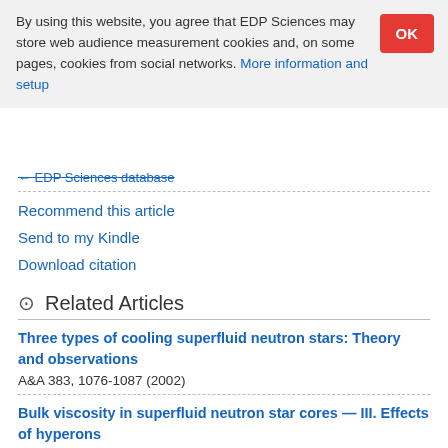By using this website, you agree that EDP Sciences may store web audience measurement cookies and, on some pages, cookies from social networks. More information and setup
EDP Sciences database
Recommend this article
Send to my Kindle
Download citation
Related Articles
Three types of cooling superfluid neutron stars: Theory and observations
A&A 383, 1076-1087 (2002)
Bulk viscosity in superfluid neutron star cores — III. Effects of hyperons
A&A 381, 1080-1089 (2002)
Bulk viscosity in superfluid neutron star cores — II. Modified Urca